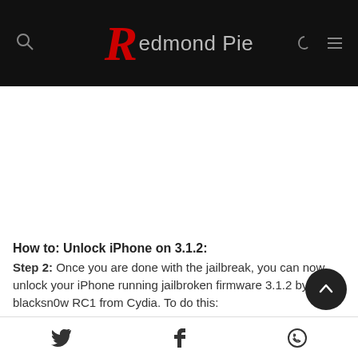Redmond Pie
[Figure (other): Advertisement or blank white space area]
How to: Unlock iPhone on 3.1.2:
Step 2: Once you are done with the jailbreak, you can now unlock your iPhone running jailbroken firmware 3.1.2 by using blacksn0w RC1 from Cydia. To do this:
Twitter, Facebook, WhatsApp share icons